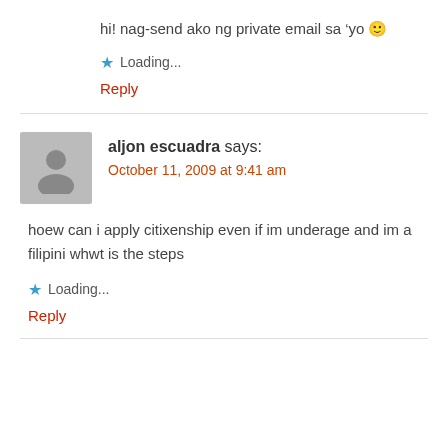hi! nag-send ako ng private email sa ‘yo 🙂
Loading...
Reply
aljon escuadra says:
October 11, 2009 at 9:41 am
hoew can i apply citixenship even if im underage and im a filipini whwt is the steps
Loading...
Reply